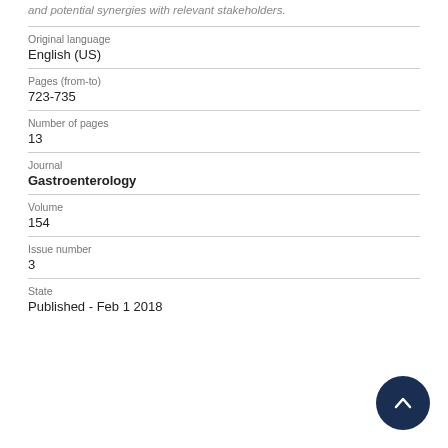and potential synergies with relevant stakeholders.
| Original language | English (US) |
| Pages (from-to) | 723-735 |
| Number of pages | 13 |
| Journal | Gastroenterology |
| Volume | 154 |
| Issue number | 3 |
| State | Published - Feb 1 2018 |